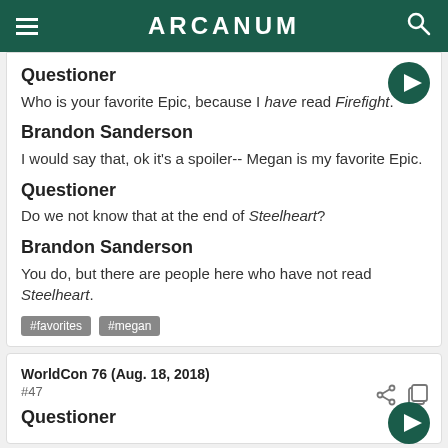ARCANUM
Questioner
Who is your favorite Epic, because I have read Firefight.
Brandon Sanderson
I would say that, ok it's a spoiler-- Megan is my favorite Epic.
Questioner
Do we not know that at the end of Steelheart?
Brandon Sanderson
You do, but there are people here who have not read Steelheart.
#favorites  #megan
WorldCon 76 (Aug. 18, 2018)
#47
Questioner